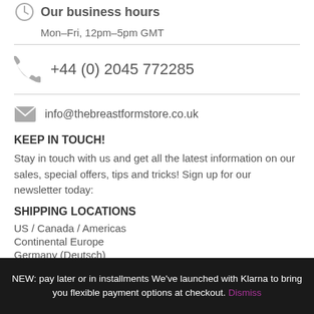Our business hours
Mon–Fri, 12pm–5pm GMT
+44 (0) 2045 772285
info@thebreastformstore.co.uk
KEEP IN TOUCH!
Stay in touch with us and get all the latest information on our sales, special offers, tips and tricks! Sign up for our newsletter today:
SHIPPING LOCATIONS
US / Canada / Americas
Continental Europe
Germany (Deutsch)
NEW: pay later or in installments We've launched with Klarna to bring you flexible payment options at checkout. Dismiss